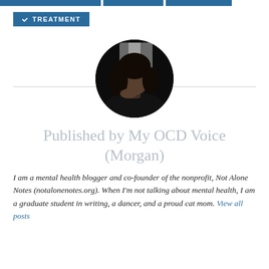TREATMENT
[Figure (photo): Circular profile photo of Morgan, a woman with dark curly hair, resting her chin on her hand, photographed in a dimly lit indoor setting.]
Published by My OCD Voice (Morgan)
I am a mental health blogger and co-founder of the nonprofit, Not Alone Notes (notalonenotes.org). When I'm not talking about mental health, I am a graduate student in writing, a dancer, and a proud cat mom. View all posts